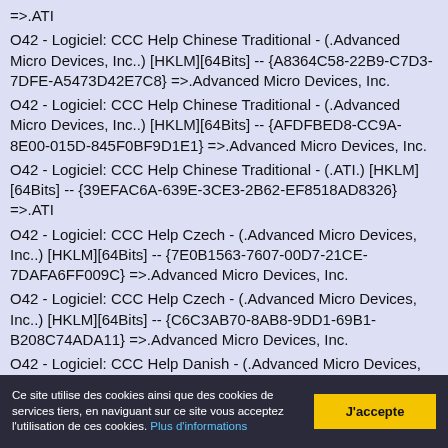=>.ATI
O42 - Logiciel: CCC Help Chinese Traditional - (.Advanced Micro Devices, Inc..) [HKLM][64Bits] -- {A8364C58-22B9-C7D3-7DFE-A5473D42E7C8} =>.Advanced Micro Devices, Inc.
O42 - Logiciel: CCC Help Chinese Traditional - (.Advanced Micro Devices, Inc..) [HKLM][64Bits] -- {AFDFBED8-CC9A-8E00-015D-845F0BF9D1E1} =>.Advanced Micro Devices, Inc.
O42 - Logiciel: CCC Help Chinese Traditional - (.ATI.) [HKLM][64Bits] -- {39EFAC6A-639E-3CE3-2B62-EF8518AD8326} =>.ATI
O42 - Logiciel: CCC Help Czech - (.Advanced Micro Devices, Inc..) [HKLM][64Bits] -- {7E0B1563-7607-00D7-21CE-7DAFA6FF009C} =>.Advanced Micro Devices, Inc.
O42 - Logiciel: CCC Help Czech - (.Advanced Micro Devices, Inc..) [HKLM][64Bits] -- {C6C3AB70-8AB8-9DD1-69B1-B208C74ADA11} =>.Advanced Micro Devices, Inc.
O42 - Logiciel: CCC Help Danish - (.Advanced Micro Devices, Inc..) [HKLM][64Bits] -- {1E93452B-BA3E-7375-958C-
Ce site utilise des cookies ainsi que des cookies de services tiers, en naviguant sur ce site vous acceptez l'utilisation de ces cookies. Plus d'informations